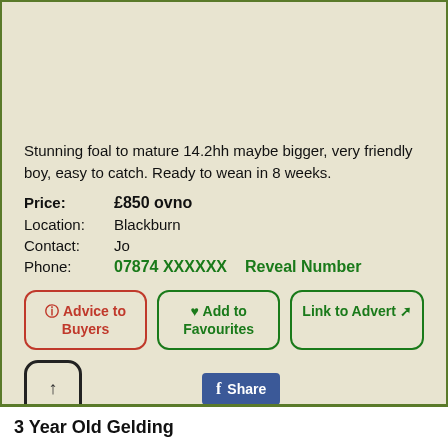Stunning foal to mature 14.2hh maybe bigger, very friendly boy, easy to catch. Ready to wean in 8 weeks.
Price: £850 ovno
Location: Blackburn
Contact: Jo
Phone: 07874 XXXXXX   Reveal Number
Advice to Buyers
Add to Favourites
Link to Advert
Share
3 Year Old Gelding